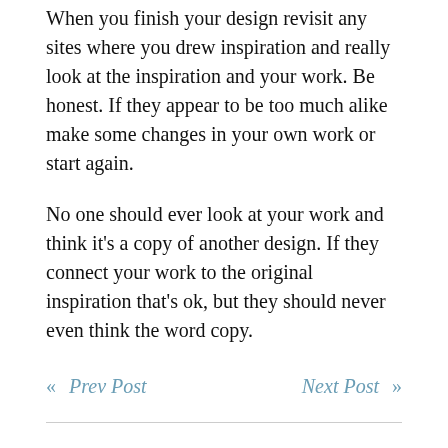When you finish your design revisit any sites where you drew inspiration and really look at the inspiration and your work. Be honest. If they appear to be too much alike make some changes in your own work or start again.
No one should ever look at your work and think it's a copy of another design. If they connect your work to the original inspiration that's ok, but they should never even think the word copy.
« Prev Post    Next Post »
Download a free sample from my book, Design Fundamentals.